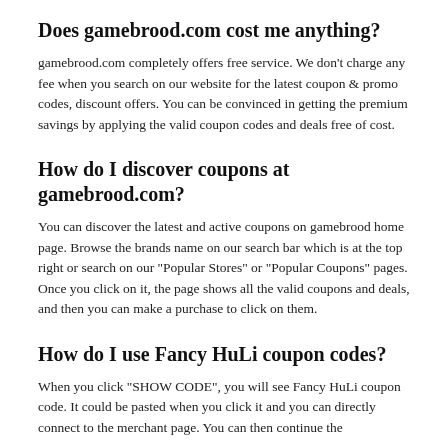Does gamebrood.com cost me anything?
gamebrood.com completely offers free service. We don't charge any fee when you search on our website for the latest coupon & promo codes, discount offers. You can be convinced in getting the premium savings by applying the valid coupon codes and deals free of cost.
How do I discover coupons at gamebrood.com?
You can discover the latest and active coupons on gamebrood home page. Browse the brands name on our search bar which is at the top right or search on our "Popular Stores" or "Popular Coupons" pages. Once you click on it, the page shows all the valid coupons and deals, and then you can make a purchase to click on them.
How do I use Fancy HuLi coupon codes?
When you click "SHOW CODE", you will see Fancy HuLi coupon code. It could be pasted when you click it and you can directly connect to the merchant page. You can then continue the